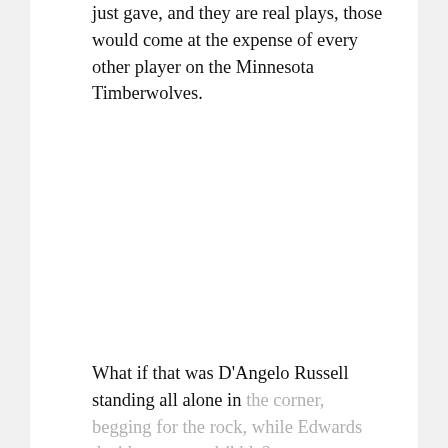just gave, and they are real plays, those would come at the expense of every other player on the Minnesota Timberwolves.
What if that was D'Angelo Russell standing all alone in the corner, begging for the rock, while Edwards decides to over-dribble?